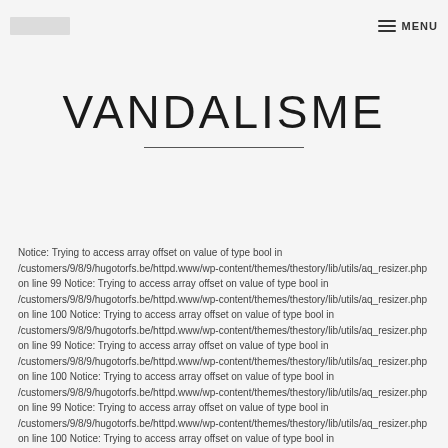MENU
VANDALISME
Notice: Trying to access array offset on value of type bool in /customers/9/8/9/hugotorfs.be/httpd.www/wp-content/themes/thestory/lib/utils/aq_resizer.php on line 99 Notice: Trying to access array offset on value of type bool in /customers/9/8/9/hugotorfs.be/httpd.www/wp-content/themes/thestory/lib/utils/aq_resizer.php on line 100 Notice: Trying to access array offset on value of type bool in /customers/9/8/9/hugotorfs.be/httpd.www/wp-content/themes/thestory/lib/utils/aq_resizer.php on line 99 Notice: Trying to access array offset on value of type bool in /customers/9/8/9/hugotorfs.be/httpd.www/wp-content/themes/thestory/lib/utils/aq_resizer.php on line 100 Notice: Trying to access array offset on value of type bool in /customers/9/8/9/hugotorfs.be/httpd.www/wp-content/themes/thestory/lib/utils/aq_resizer.php on line 99 Notice: Trying to access array offset on value of type bool in /customers/9/8/9/hugotorfs.be/httpd.www/wp-content/themes/thestory/lib/utils/aq_resizer.php on line 100 Notice: Trying to access array offset on value of type bool in